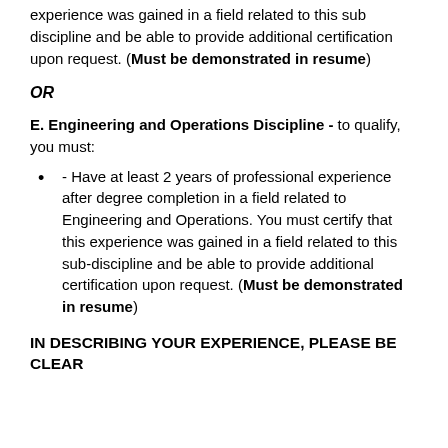experience was gained in a field related to this sub discipline and be able to provide additional certification upon request. (Must be demonstrated in resume)
OR
E. Engineering and Operations Discipline - to qualify, you must:
- Have at least 2 years of professional experience after degree completion in a field related to Engineering and Operations. You must certify that this experience was gained in a field related to this sub-discipline and be able to provide additional certification upon request. (Must be demonstrated in resume)
IN DESCRIBING YOUR EXPERIENCE, PLEASE BE CLEAR